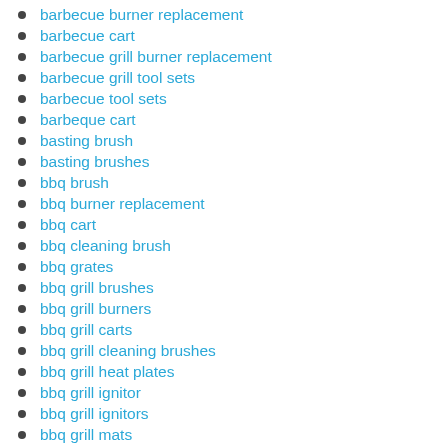barbecue burner replacement
barbecue cart
barbecue grill burner replacement
barbecue grill tool sets
barbecue tool sets
barbeque cart
basting brush
basting brushes
bbq brush
bbq burner replacement
bbq cart
bbq cleaning brush
bbq grates
bbq grill brushes
bbq grill burners
bbq grill carts
bbq grill cleaning brushes
bbq grill heat plates
bbq grill ignitor
bbq grill ignitors
bbq grill mats
bbq grill thermometer probe
bbq grill thermometer probes
bbq grilling mats
bbq heat plates
bbq knobs
bbq mats
bbq replacement burner